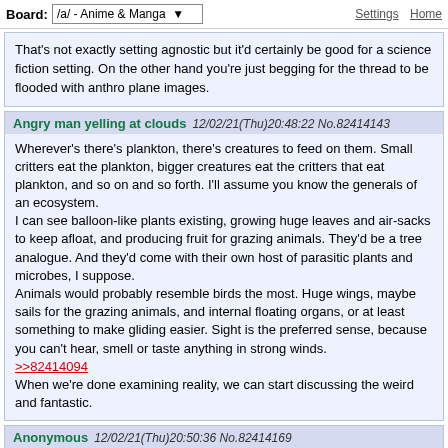Board: /a/ - Anime & Manga   Settings  Home
That's not exactly setting agnostic but it'd certainly be good for a science fiction setting. On the other hand you're just begging for the thread to be flooded with anthro plane images.
Angry man yelling at clouds   12/02/21(Thu)20:48:22 No.82414143
Wherever's there's plankton, there's creatures to feed on them. Small critters eat the plankton, bigger creatures eat the critters that eat plankton, and so on and so forth. I'll assume you know the generals of an ecosystem.
I can see balloon-like plants existing, growing huge leaves and air-sacks to keep afloat, and producing fruit for grazing animals. They'd be a tree analogue. And they'd come with their own host of parasitic plants and microbes, I suppose.
Animals would probably resemble birds the most. Huge wings, maybe sails for the grazing animals, and internal floating organs, or at least something to make gliding easier. Sight is the preferred sense, because you can't hear, smell or taste anything in strong winds.
>>82414094
When we're done examining reality, we can start discussing the weird and fantastic.
Anonymous   12/02/21(Thu)20:50:36 No.82414169
>>82413885
>>82414143